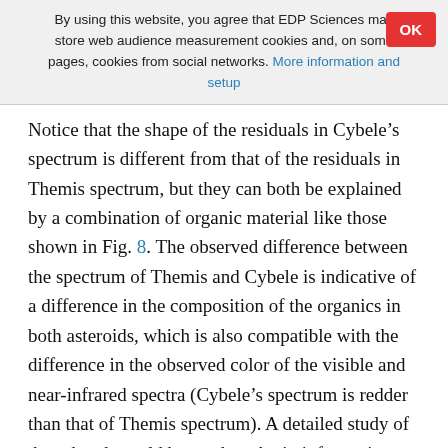By using this website, you agree that EDP Sciences may store web audience measurement cookies and, on some pages, cookies from social networks. More information and setup
Notice that the shape of the residuals in Cybele’s spectrum is different from that of the residuals in Themis spectrum, but they can both be explained by a combination of organic material like those shown in Fig. 8. The observed difference between the spectrum of Themis and Cybele is indicative of a difference in the composition of the organics in both asteroids, which is also compatible with the difference in the observed color of the visible and near-infrared spectra (Cybele’s spectrum is redder than that of Themis spectrum). A detailed study of these bands could be used to obtain information on the organics that are present on their surfaces, but, at least in the case of Cybele, the S/N is